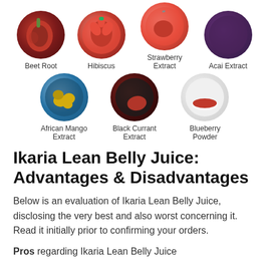[Figure (illustration): Seven circular ingredient images arranged in two rows: Row 1: Beet Root, Hibiscus, Strawberry Extract, Acai Extract. Row 2: African Mango Extract, Black Currant Extract, Blueberry Powder. Each image is in a circle with a label below.]
Ikaria Lean Belly Juice: Advantages & Disadvantages
Below is an evaluation of Ikaria Lean Belly Juice, disclosing the very best and also worst concerning it. Read it initially prior to confirming your orders.
Pros regarding Ikaria Lean Belly Juice